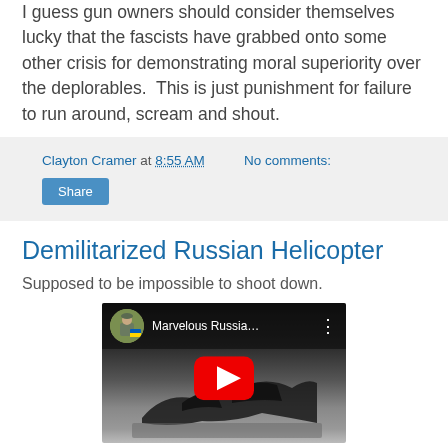I guess gun owners should consider themselves lucky that the fascists have grabbed onto some other crisis for demonstrating moral superiority over the deplorables.  This is just punishment for failure to run around, scream and shout.
Clayton Cramer at 8:55 AM   No comments:
Share
Demilitarized Russian Helicopter
Supposed to be impossible to shoot down.
[Figure (screenshot): YouTube video thumbnail showing a crashed/destroyed helicopter wreckage on the ground with a channel avatar of a soldier with Ukrainian flag, titled 'Marvelous Russia...' with YouTube play button overlay.]